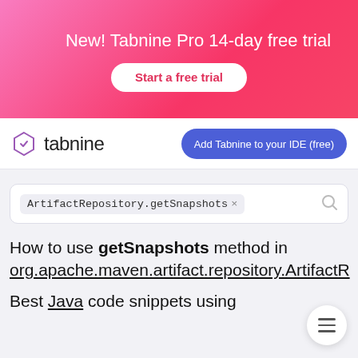[Figure (screenshot): Tabnine Pro promotional banner with pink-red gradient background, party icon, title 'New! Tabnine Pro 14-day free trial', and 'Start a free trial' button]
[Figure (logo): Tabnine logo with purple hexagon icon and 'tabnine' text, plus 'Add Tabnine to your IDE (free)' blue button]
ArtifactRepository.getSnapshots ×
How to use getSnapshots method in org.apache.maven.artifact.repository.ArtifactR
Best Java code snippets using